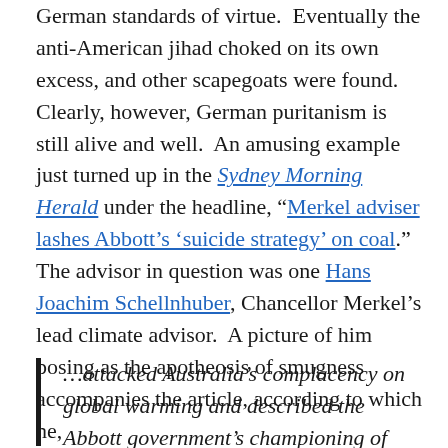German standards of virtue.  Eventually the anti-American jihad choked on its own excess, and other scapegoats were found. Clearly, however, German puritanism is still alive and well.  An amusing example just turned up in the Sydney Morning Herald under the headline, “Merkel adviser lashes Abbott’s ‘suicide strategy’ on coal.”  The advisor in question was one Hans Joachim Schellnhuber, Chancellor Merkel’s lead climate advisor.  A picture of him posing as the apotheosis of smugness accompanies the article, according to which he,
…attacked Australia’s complacency on global warming and described the Abbott government’s championing of